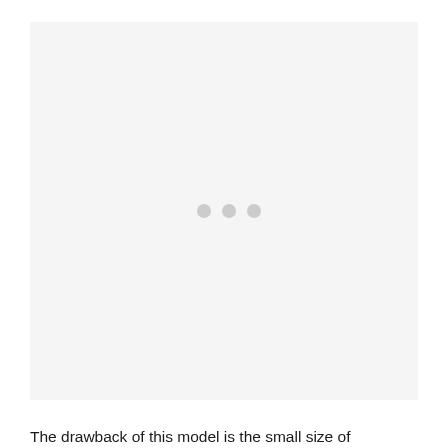[Figure (other): A light gray rectangular box with three small gray dots centered near the middle, indicating a loading or placeholder image area.]
The drawback of this model is the small size of